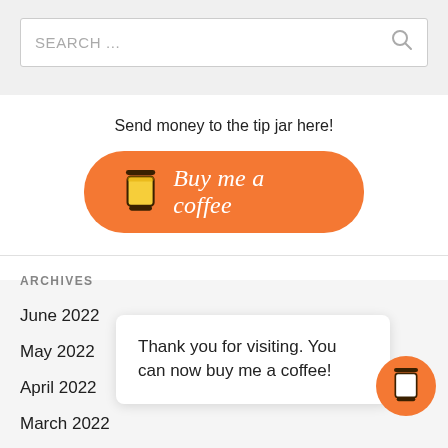[Figure (screenshot): Search bar input field with placeholder text SEARCH ... and a magnifying glass icon on the right, on a light grey background.]
Send money to the tip jar here!
[Figure (illustration): Orange rounded-rectangle button with a coffee cup icon and the text 'Buy me a coffee' in white italic script.]
ARCHIVES
June 2022
May 2022
April 2022
March 2022
Thank you for visiting. You can now buy me a coffee!
[Figure (illustration): Orange circle button with a coffee cup icon, floating in the bottom-right corner.]